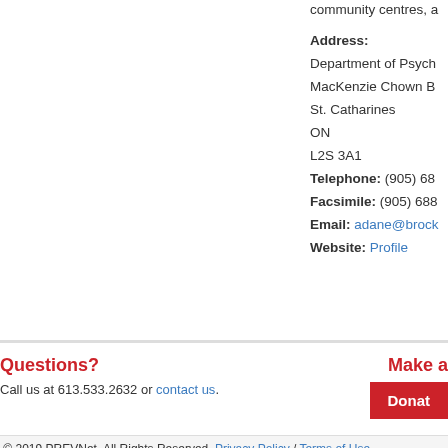community centres, a
Address:
Department of Psych
MacKenzie Chown B
St. Catharines
ON
L2S 3A1
Telephone: (905) 68
Facsimile: (905) 688
Email: adane@brock
Website: Profile
Questions?
Call us at 613.533.2632 or contact us.
Make a
Donate
© 2019 PREVNet. All Rights Reserved. Privacy Policy / Terms of Use